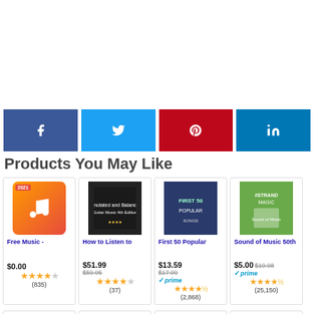[Figure (infographic): Social share buttons: Facebook (blue), Twitter (light blue), Pinterest (red), LinkedIn (dark blue)]
Products You May Like
[Figure (other): Product card: Free Music - $0.00, 4 stars, (835) reviews]
[Figure (other): Product card: How to Listen to - $51.99 (was $59.95), 4 stars, (37) reviews]
[Figure (other): Product card: First 50 Popular - $13.59 (was $17.99), Prime, 4.5 stars, (2,868) reviews]
[Figure (other): Product card: Sound of Music 50th - $5.00 (was $19.98), Prime, 4.5 stars, (25,150) reviews]